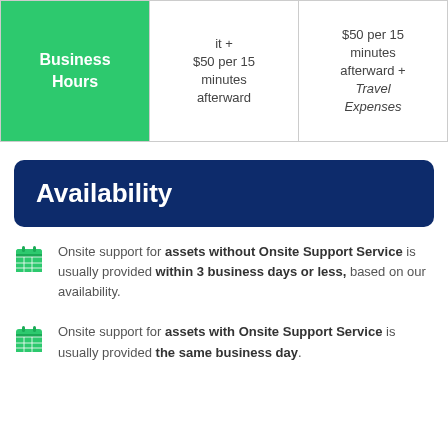|  | Column 2 | Column 3 |
| --- | --- | --- |
| Business Hours | it + $50 per 15 minutes afterward | $50 per 15 minutes afterward + Travel Expenses |
Availability
Onsite support for assets without Onsite Support Service is usually provided within 3 business days or less, based on our availability.
Onsite support for assets with Onsite Support Service is usually provided the same business day.